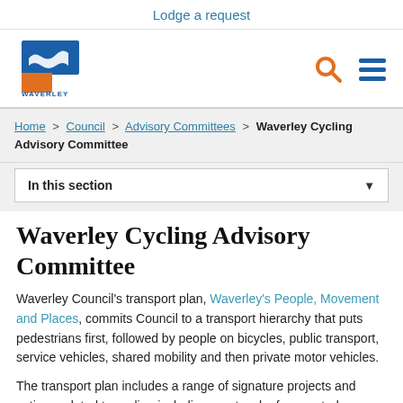Lodge a request
[Figure (logo): Waverley Council logo: blue and orange shield shape with wave, text WAVERLEY COUNCIL below]
Home > Council > Advisory Committees > Waverley Cycling Advisory Committee
In this section
Waverley Cycling Advisory Committee
Waverley Council's transport plan, Waverley's People, Movement and Places, commits Council to a transport hierarchy that puts pedestrians first, followed by people on bicycles, public transport, service vehicles, shared mobility and then private motor vehicles.
The transport plan includes a range of signature projects and actions related to cycling including a network of separated